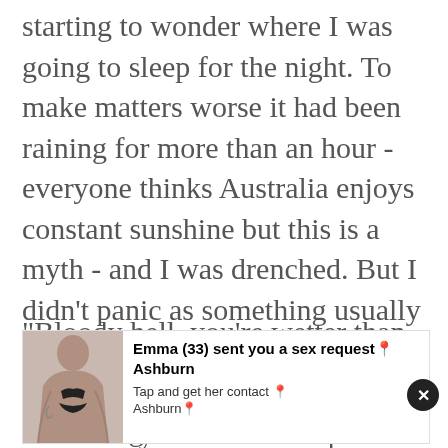starting to wonder where I was going to sleep for the night. To make matters worse it had been raining for more than an hour - everyone thinks Australia enjoys constant sunshine but this is a myth - and I was drenched. But I didn't panic as something usually comes up and sure enough a white ute pulled up and the middle-aged female driver wound her window down.
"Bloody hell, you're wetter than a fish
[Figure (photo): Advertisement overlay showing a woman's torso photo on the left, bold text 'Emma (33) sent you a sex request Ashburn' and subtitle 'Tap and get her contact Ashburn' on the right, with an X close button.]
I threw my bike and backpack in the back